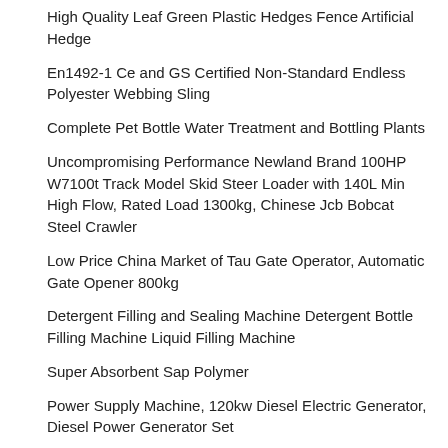High Quality Leaf Green Plastic Hedges Fence Artificial Hedge
En1492-1 Ce and GS Certified Non-Standard Endless Polyester Webbing Sling
Complete Pet Bottle Water Treatment and Bottling Plants
Uncompromising Performance Newland Brand 100HP W7100t Track Model Skid Steer Loader with 140L Min High Flow, Rated Load 1300kg, Chinese Jcb Bobcat Steel Crawler
Low Price China Market of Tau Gate Operator, Automatic Gate Opener 800kg
Detergent Filling and Sealing Machine Detergent Bottle Filling Machine Liquid Filling Machine
Super Absorbent Sap Polymer
Power Supply Machine, 120kw Diesel Electric Generator, Diesel Power Generator Set